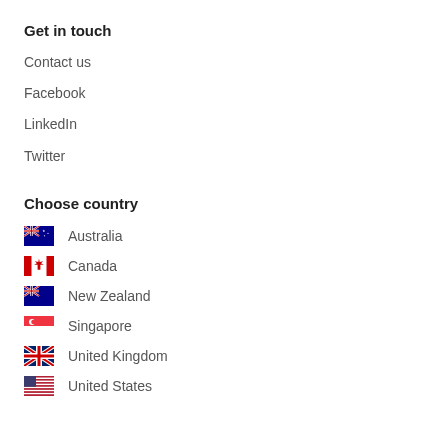Get in touch
Contact us
Facebook
LinkedIn
Twitter
Choose country
Australia
Canada
New Zealand
Singapore
United Kingdom
United States